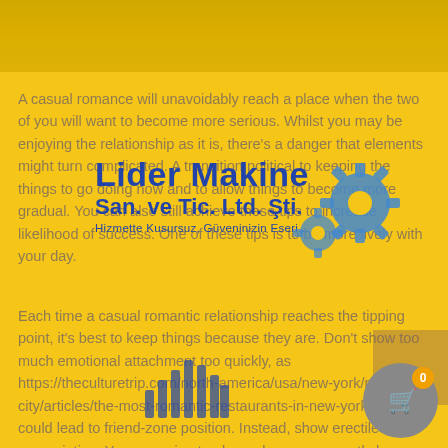[Figure (photo): Top banner image with yellow/golden toned background, partially visible photograph]
A casual romance will unavoidably reach a place when the two of you will want to become more serious. Whilst you may be enjoying the relationship as it is, there's a danger that elements might turn complicated. A transition political to keeping the things to go doing now and to allow things to become more gradual. You can also still achieve these tips to increase likelihood of success. One of these tips is to be more lively with your day.
[Figure (logo): Lider Makine San. ve Tic. Ltd. Şti. logo with gear icons. Tagline: Hizmette Kusursuz, Güveninizin Eseri...]
Each time a casual romantic relationship reaches the tipping point, it's best to keep things because they are. Don't show too much emotional attachment too quickly, as https://theculturetrip.com/north-america/usa/new-york/new-york-city/articles/the-most-romantic-restaurants-in-new-york-city/ this could lead to friend-zone position. Instead, show erectile appreciation. You are going to always be surprised at exactly how quickly your lady starts to look and feel attracted to you. The first thing is to steer clear of